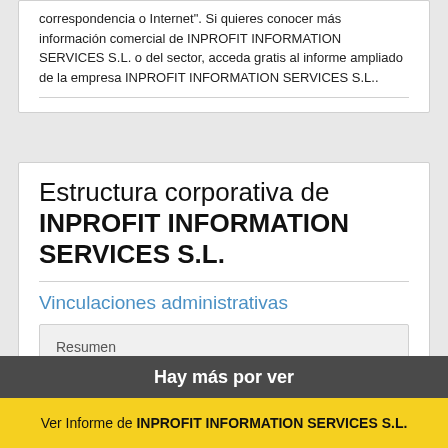correspondencia o Internet". Si quieres conocer más información comercial de INPROFIT INFORMATION SERVICES S.L. o del sector, acceda gratis al informe ampliado de la empresa INPROFIT INFORMATION SERVICES S.L..
Estructura corporativa de INPROFIT INFORMATION SERVICES S.L.
Vinculaciones administrativas
Resumen
Hay más por ver
Ver Informe de INPROFIT INFORMATION SERVICES S.L.